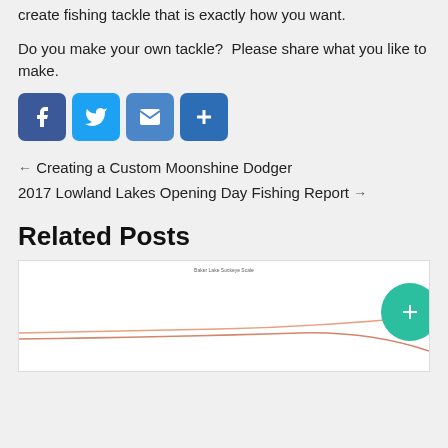create fishing tackle that is exactly how you want.
Do you make your own tackle?  Please share what you like to make.
[Figure (infographic): Social sharing icons: Facebook (blue rounded square), Twitter (blue rounded square), Email (blue rounded square), Share/Add (blue rounded square)]
← Creating a Custom Moonshine Dodger
2017 Lowland Lakes Opening Day Fishing Report →
Related Posts
[Figure (continuous-plot): Baker Lake Sockeye Scale line chart preview image, showing salmon population trend lines in orange/salmon colors on white background]